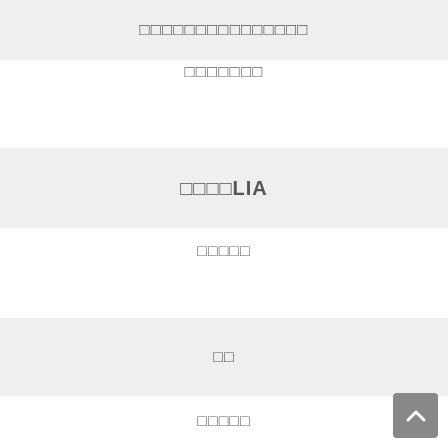□□□□□□□□□□□□□□□
□□□□□□□
□□□□LIA
□□□□□
□□
□□□□□